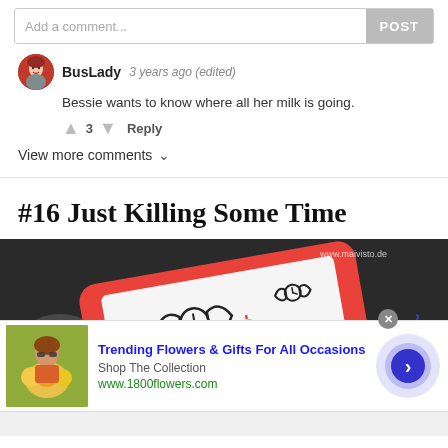Add a comment...
POST
BusLady  3 years ago (edited)
Bessie wants to know where all her milk is going.
↑ 3 ↓  Reply
View more comments ∨
#16 Just Killing Some Time
[Figure (illustration): Dark background image of a phone with winged clock and crosshair illustrations, watermarked www.maivisto.de]
Trending Flowers & Gifts For All Occasions
Shop The Collection
www.1800flowers.com